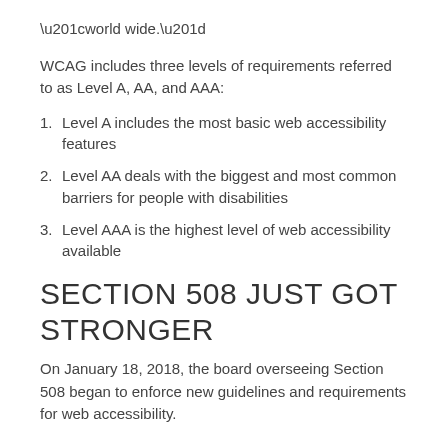“world wide.”
WCAG includes three levels of requirements referred to as Level A, AA, and AAA:
Level A includes the most basic web accessibility features
Level AA deals with the biggest and most common barriers for people with disabilities
Level AAA is the highest level of web accessibility available
SECTION 508 JUST GOT STRONGER
On January 18, 2018, the board overseeing Section 508 began to enforce new guidelines and requirements for web accessibility.